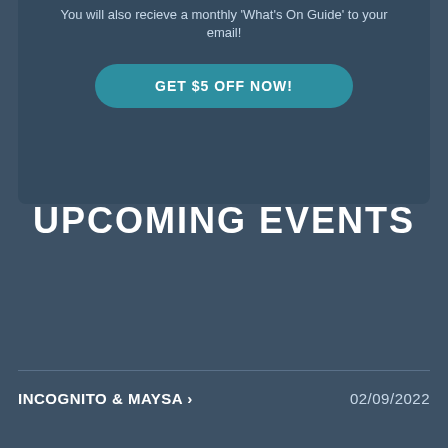You will also recieve a monthly 'What's On Guide' to your email!
GET $5 OFF NOW!
UPCOMING EVENTS
INCOGNITO & MAYSA ›
02/09/2022